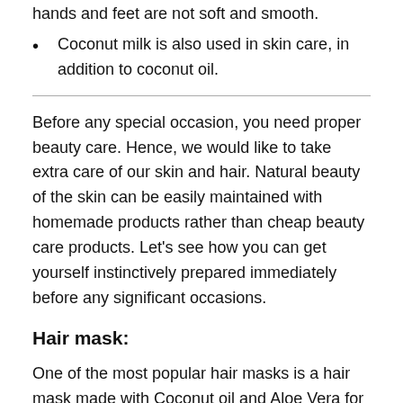hands and feet are not soft and smooth.
Coconut milk is also used in skin care, in addition to coconut oil.
Before any special occasion, you need proper beauty care. Hence, we would like to take extra care of our skin and hair. Natural beauty of the skin can be easily maintained with homemade products rather than cheap beauty care products. Let’s see how you can get yourself instinctively prepared immediately before any significant occasions.
Hair mask:
One of the most popular hair masks is a hair mask made with Coconut oil and Aloe Vera for instant shiny hair. Special occasion hair routine can also be maintained.  You need to look special for special